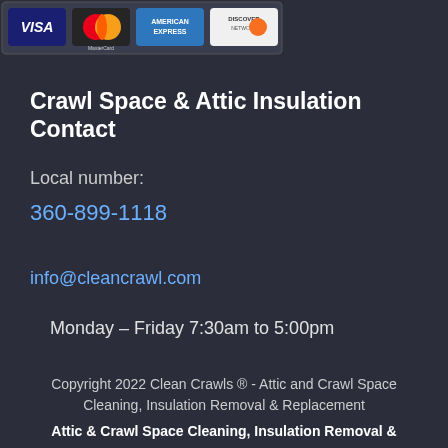[Figure (other): Credit card logos: Visa, MasterCard, American Express, Discover Network]
Crawl Space & Attic Insulation Contact
Local number:
360-899-1118
info@cleancrawl.com
Monday – Friday 7:30am to 5:00pm
Copyright 2022 Clean Crawls ® - Attic and Crawl Space Cleaning, Insulation Removal & Replacement
Attic & Crawl Space Cleaning, Insulation Removal &